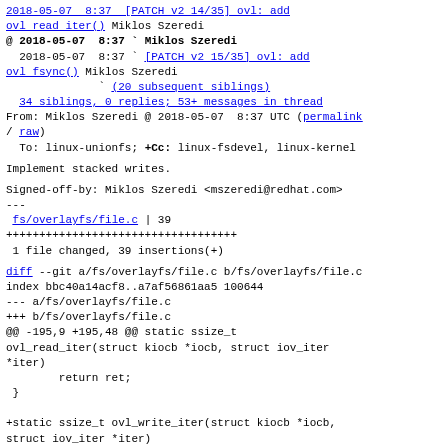2018-05-07  8:37  [PATCH v2 14/35] ovl: add ovl read iter()  Miklos Szeredi
@ 2018-05-07  8:37  Miklos Szeredi
  2018-05-07  8:37  [PATCH v2 15/35] ovl: add ovl fsync()  Miklos Szeredi
              (20 subsequent siblings)
  34 siblings, 0 replies; 53+ messages in thread
From: Miklos Szeredi @ 2018-05-07  8:37 UTC (permalink / raw)
  To: linux-unionfs; +Cc: linux-fsdevel, linux-kernel
Implement stacked writes.
Signed-off-by: Miklos Szeredi <mszeredi@redhat.com>
---
 fs/overlayfs/file.c | 39
+++++++++++++++++++++++++++++++++++
 1 file changed, 39 insertions(+)
diff --git a/fs/overlayfs/file.c b/fs/overlayfs/file.c
index bbc40a14acf8..a7af56861aa5 100644
--- a/fs/overlayfs/file.c
+++ b/fs/overlayfs/file.c
@@ -195,9 +195,48 @@ static ssize_t
ovl_read_iter(struct kiocb *iocb, struct iov_iter
*iter)
        return ret;
 }

+static ssize_t ovl_write_iter(struct kiocb *iocb,
struct iov_iter *iter)